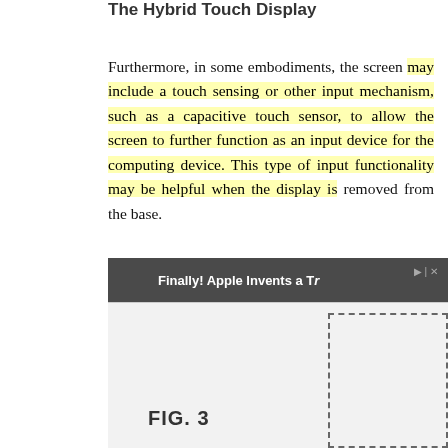The Hybrid Touch Display
Furthermore, in some embodiments, the screen may include a touch sensing or other input mechanism, such as a capacitive touch sensor, to allow the screen to further function as an input device for the computing device. This type of input functionality may be helpful when the display is removed from the base.
[Figure (screenshot): Advertisement banner showing 'Finally! Apple Invents a Tr...' with navigation arrows on either side and a partial figure diagram below labeled FIG. 3]